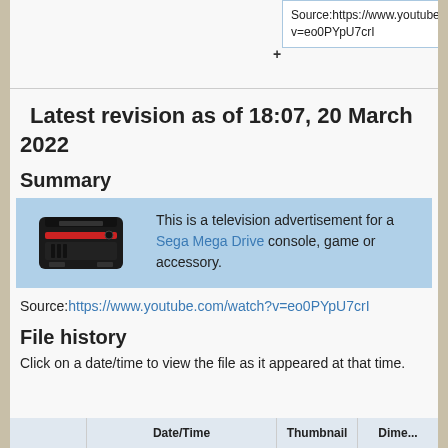Source:https://www.youtube.com/watch?v=eo0PYpU7crI
Latest revision as of 18:07, 20 March 2022
Summary
[Figure (illustration): Sega Mega Drive console illustration showing a black console with red stripe, cartridge slot, and controller ports. Text reads: This is a television advertisement for a Sega Mega Drive console, game or accessory.]
Source:https://www.youtube.com/watch?v=eo0PYpU7crI
File history
Click on a date/time to view the file as it appeared at that time.
|  | Date/Time | Thumbnail | Dime... |
| --- | --- | --- | --- |